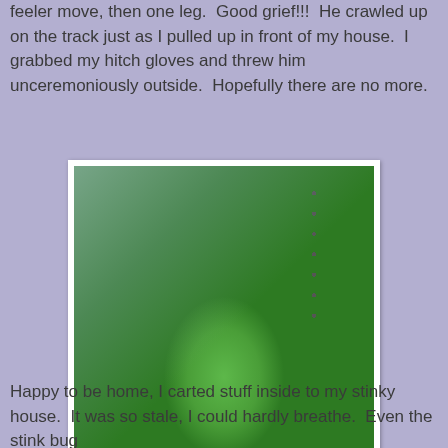feeler move, then one leg.  Good grief!!!  He crawled up on the track just as I pulled up in front of my house.  I grabbed my hitch gloves and threw him unceremoniously outside.  Hopefully there are no more.
[Figure (photo): A green stink bug sitting on dark metal window track/rail, with a silvery metallic surface visible in the top left corner.]
Happy to be home, I carted stuff inside to my stinky house.  It was so stale, I could hardly breathe.  Even the stink bug